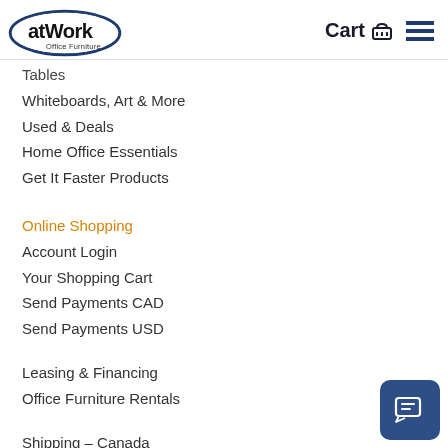[Figure (logo): atWork Office Furniture logo — oval with blue border, 'atWork' in bold black text, 'Office Furniture' below in smaller text]
Cart 🛒 ☰
Tables
Whiteboards, Art & More
Used & Deals
Home Office Essentials
Get It Faster Products
Online Shopping
Account Login
Your Shopping Cart
Send Payments CAD
Send Payments USD
Leasing & Financing
Office Furniture Rentals
Shipping – Canada
Shipping – USA